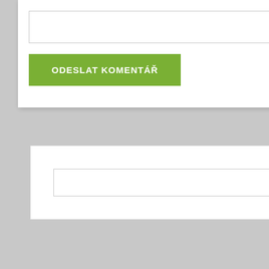[Figure (screenshot): White card with a textarea input box and a green 'ODESLAT KOMENTÁŘ' submit button]
[Figure (screenshot): White card with a search input box and green 'HLEDAT' button]
POSLEDNÍ PŘÍSPĚVKY
mash season 6 episode 21 cast
Cesta za sv. Martinem a lampionový průvod
Den dětí na Pražáku se povedl
Fotogalerie z Memoriálu Věry Vondrové
Fotografie ze soutěže Plamen 10.10.2015